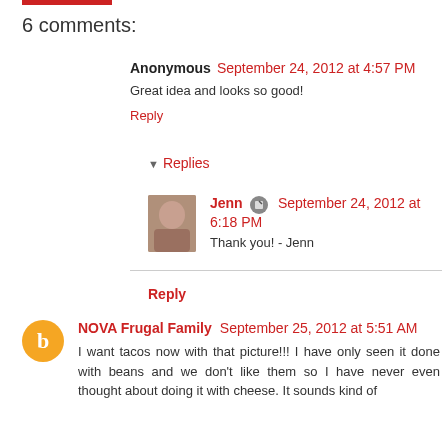6 comments:
Anonymous  September 24, 2012 at 4:57 PM
Great idea and looks so good!
Reply
Replies
Jenn  September 24, 2012 at 6:18 PM
Thank you! - Jenn
Reply
NOVA Frugal Family  September 25, 2012 at 5:51 AM
I want tacos now with that picture!!! I have only seen it done with beans and we don't like them so I have never even thought about doing it with cheese. It sounds kind of